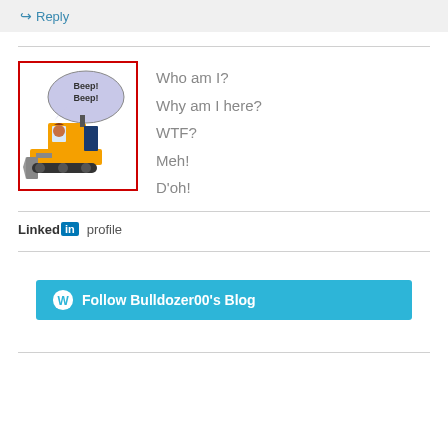↪ Reply
[Figure (illustration): Cartoon bulldozer with a speech bubble saying 'Beep! Beep!' and a driver inside, outlined in red border]
Who am I?
Why am I here?
WTF?
Meh!
D'oh!
Linked in profile
Follow Bulldozer00's Blog